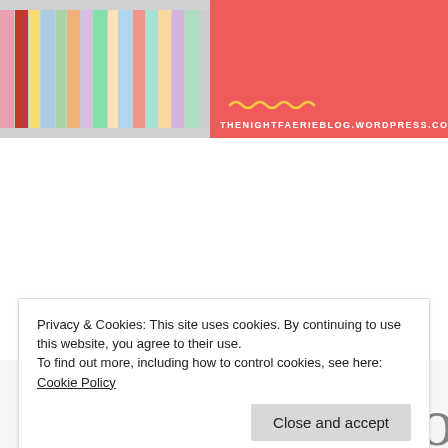[Figure (photo): Blog header banner with two sections: left side shows a row of colorful book spines, right side is coral/red with a squiggly underline and blog URL text THENIGHTFAERIEBLOG.WORDPRESS.CO]
BOOK TAG TUESDAY: #DAYLIGHTSAVINGSTAG
November 20, 2018
[Figure (photo): Partial view of decorative icons/characters at the bottom of the page, partially cut off]
Privacy & Cookies: This site uses cookies. By continuing to use this website, you agree to their use.
To find out more, including how to control cookies, see here: Cookie Policy
Close and accept